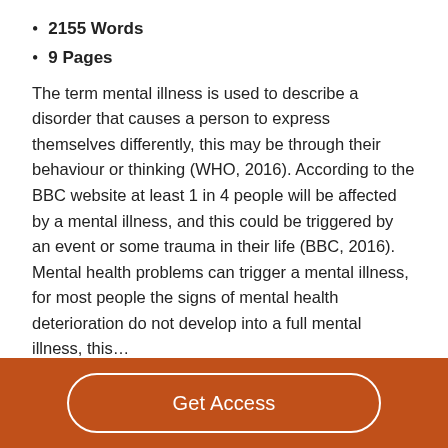2155 Words
9 Pages
The term mental illness is used to describe a disorder that causes a person to express themselves differently, this may be through their behaviour or thinking (WHO, 2016). According to the BBC website at least 1 in 4 people will be affected by a mental illness, and this could be triggered by an event or some trauma in their life (BBC, 2016). Mental health problems can trigger a mental illness, for most people the signs of mental health deterioration do not develop into a full mental illness, this…
Read More
Get Access